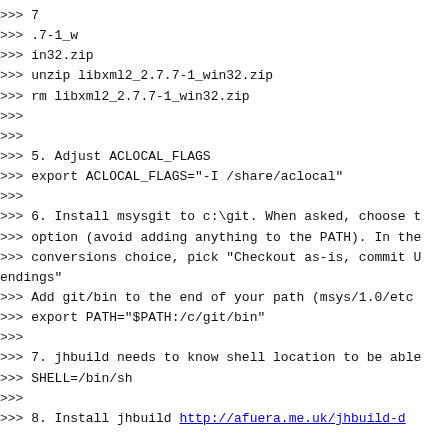>>> 7
>>> .7-1_w
>>> in32.zip
>>> unzip libxml2_2.7.7-1_win32.zip
>>> rm libxml2_2.7.7-1_win32.zip
>>>
>>>
>>> 5. Adjust ACLOCAL_FLAGS
>>> export ACLOCAL_FLAGS="-I /share/aclocal"
>>>
>>> 6. Install msysgit to c:\git. When asked, choose t
>>> option (avoid adding anything to the PATH). In the
>>> conversions choice, pick "Checkout as-is, commit U
endings"
>>> Add git/bin to the end of your path (msys/1.0/etc
>>> export PATH="$PATH:/c/git/bin"
>>>
>>> 7. jhbuild needs to know shell location to be able
>>> SHELL=/bin/sh
>>>
>>> 8. Install jhbuild http://afuera.me.uk/jhbuild-d